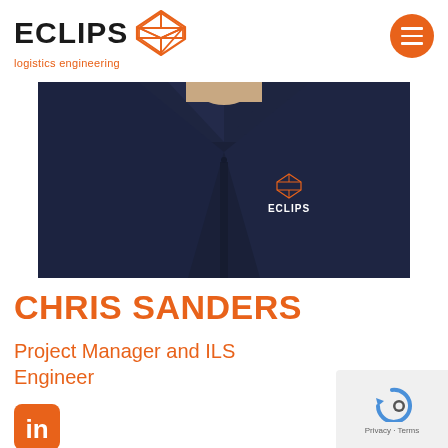[Figure (logo): ECLIPS logistics engineering logo with orange geometric diamond shape]
[Figure (photo): Portrait photo of Chris Sanders wearing a dark navy ECLIPS branded shirt, torso/collar visible]
CHRIS SANDERS
Project Manager and ILS Engineer
[Figure (logo): LinkedIn icon in orange rounded square]
[Figure (other): Google reCAPTCHA privacy widget with Privacy and Terms links]